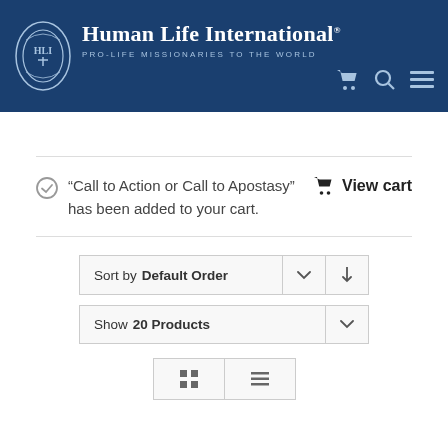Human Life International® PRO-LIFE MISSIONARIES TO THE WORLD
“Call to Action or Call to Apostasy” has been added to your cart.
View cart
Sort by Default Order
Show 20 Products